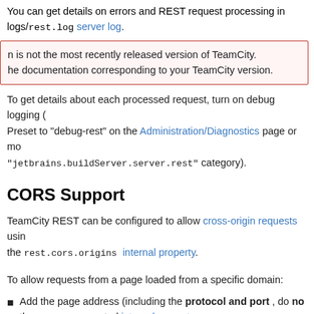You can get details on errors and REST request processing in logs/rest.log server log.
n is not the most recently released version of TeamCity. he documentation corresponding to your TeamCity version.
To get details about each processed request, turn on debug logging (Preset to "debug-rest" on the Administration/Diagnostics page or modify "jetbrains.buildServer.server.rest" category).
CORS Support
TeamCity REST can be configured to allow cross-origin requests using the rest.cors.origins internal property.
To allow requests from a page loaded from a specific domain:
Add the page address (including the protocol and port , do no the comma-separated internal property rest.cors.origins
rest.cors.origins=http://myinternalwebpage.org